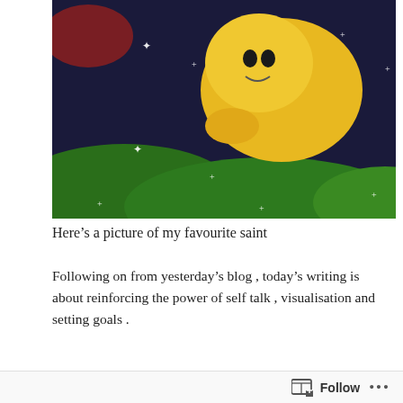[Figure (illustration): Painting of a yellow lion-like saint figure resting on green hills under a dark starry night sky, with white star/cross sparkles scattered throughout]
Here’s a picture of my favourite saint
Following on from yesterday’s blog , today’s writing is about reinforcing the power of self talk , visualisation and setting goals .
Advertisements
Professionally designed sites in less than a week
We use the top most part of our brain cortical region of